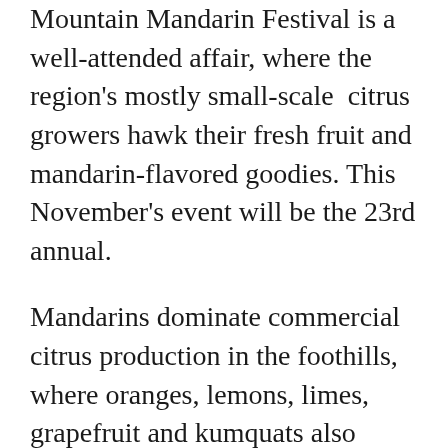Mountain Mandarin Festival is a well-attended affair, where the region's mostly small-scale citrus growers hawk their fresh fruit and mandarin-flavored goodies. This November's event will be the 23rd annual.
Mandarins dominate commercial citrus production in the foothills, where oranges, lemons, limes, grapefruit and kumquats also flourish. Last month, citrus growers in Placer County and surrounding regions were given a dire warning to safeguard their industry: Do not